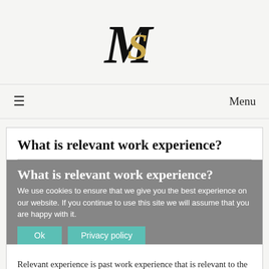[Figure (logo): MS monogram logo — black M and gold S intertwined, serif style]
≡   Menu
What is relevant work experience?
What is relevant work experience?
We use cookies to ensure that we give you the best experience on our website. If you continue to use this site we will assume that you are happy with it.
Relevant experience is past work experience that is relevant to the job you're targeting in terms of the skills or knowledge required. Relevant experience is highly sought